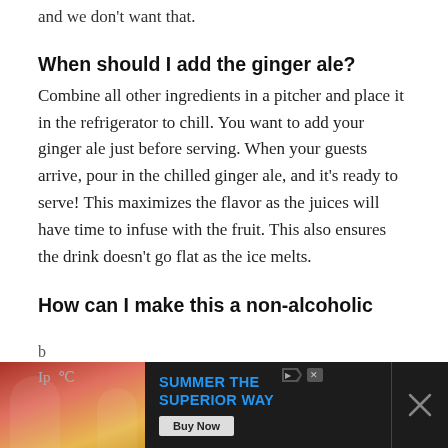and we don't want that.
When should I add the ginger ale?
Combine all other ingredients in a pitcher and place it in the refrigerator to chill. You want to add your ginger ale just before serving. When your guests arrive, pour in the chilled ginger ale, and it's ready to serve! This maximizes the flavor as the juices will have time to infuse with the fruit. This also ensures the drink doesn't go flat as the ice melts.
How can I make this a non-alcoholic
[Figure (screenshot): Advertisement banner at bottom of page showing a summer drinks promotion with 'SUMMER THE SUPERIOR WAY' text and a Buy Now button, dark background with partial page text visible above it.]